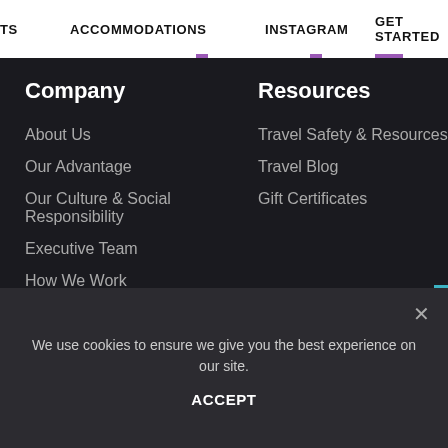TS   ACCOMMODATIONS   INSTAGRAM   GET STARTED
Company
About Us
Our Advantage
Our Culture & Social Responsibility
Executive Team
How We Work
In the News
Locations
Careers
Resources
Travel Safety & Resources
Travel Blog
Gift Certificates
Offer ID
We use cookies to ensure we give you the best experience on our site.
ACCEPT